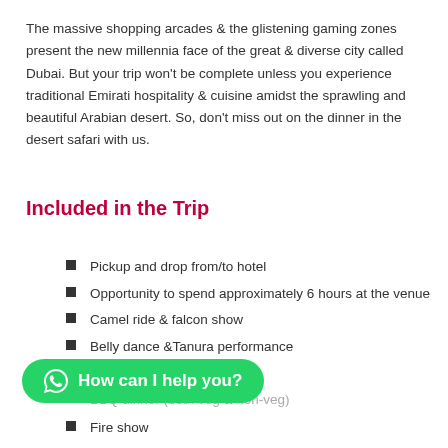The massive shopping arcades & the glistening gaming zones present the new millennia face of the great & diverse city called Dubai. But your trip won't be complete unless you experience traditional Emirati hospitality & cuisine amidst the sprawling and beautiful Arabian desert. So, don't miss out on the dinner in the desert safari with us.
Included in the Trip
Pickup and drop from/to hotel
Opportunity to spend approximately 6 hours at the venue
Camel ride & falcon show
Belly dance &Tanura performance
Unlimited refreshments
BBQ dinner (both veg & non-veg)
Fire show